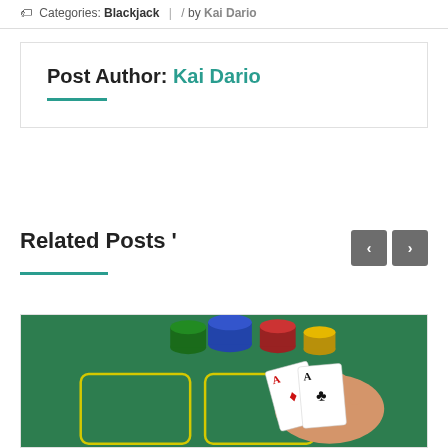Categories: Blackjack | / by Kai Dario
Post Author: Kai Dario
Related Posts '
[Figure (photo): A hand holding two aces (Ace of diamonds and Ace of clubs) over a blackjack table with colorful casino chips in the background on green felt.]